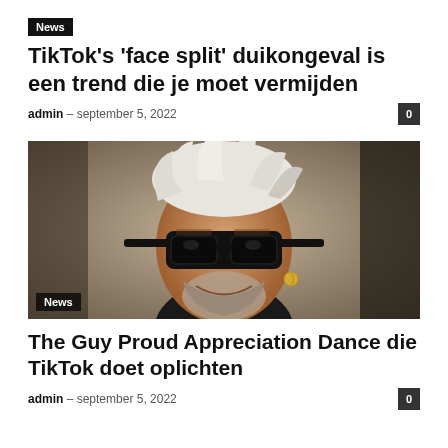News
TikTok’s ‘face split’ duikongeval is een trend die je moet vermijden
admin – september 5, 2022  0
[Figure (photo): Close-up photo of a man with white spiky hair wearing dark wraparound sunglasses and a gold hoop earring, smiling. Dark background with a News badge overlay.]
News
The Guy Proud Appreciation Dance die TikTok doet oplichten
admin – september 5, 2022  0